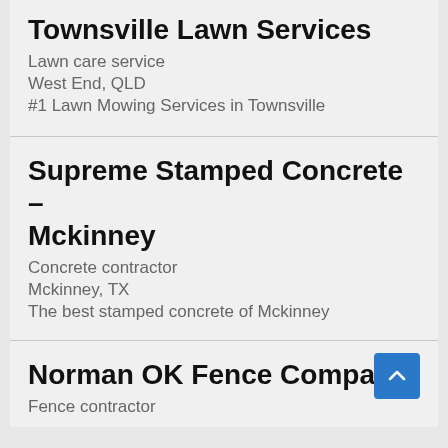Townsville Lawn Services
Lawn care service
West End, QLD
#1 Lawn Mowing Services in Townsville
Supreme Stamped Concrete – Mckinney
Concrete contractor
Mckinney, TX
The best stamped concrete of Mckinney
Norman OK Fence Company
Fence contractor